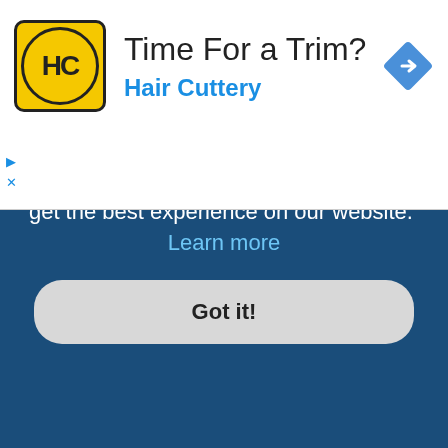[Figure (logo): Hair Cuttery advertisement banner with HC logo, 'Time For a Trim?' headline, 'Hair Cuttery' subtitle in blue, and navigation arrow icon]
d the timezone and the time is still wrong!
If you are sure you have set the timezone correctly and the time is still incorrect, then the time stored on the server clock is incorrect. Please notify an administrator to correct the problem.
Top
My language is not in the list!
Either the administrator has not installed your language or nobody has translated this board into your language. Try asking a board administrator if they can install the language pack you need. If the language pack does not exist, feel ... phpBB®
This website uses cookies to ensure you get the best experience on our website.  Learn more
Got it!
viewing ally in the form of stars, blocks or dots, indicating how many posts you have made or your